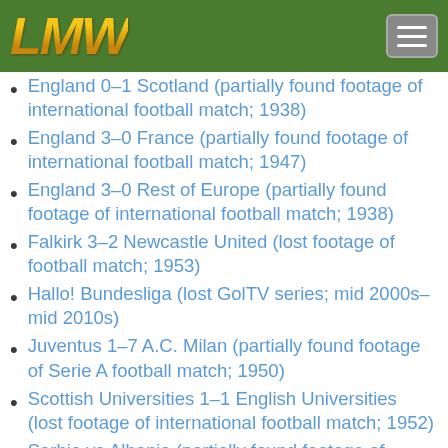[Figure (logo): LMW logo in gold/orange italic bold text on green header bar, with hamburger menu button on right]
England 0–1 Scotland (partially found footage of international football match; 1938)
England 3–0 France (partially found footage of international football match; 1947)
England 3–0 Rest of Europe (partially found footage of international football match; 1938)
Falkirk 3–2 Newcastle United (lost footage of football match; 1953)
Hallo! Bundesliga (lost GolTV series; mid 2000s–mid 2010s)
Juventus 1–7 A.C. Milan (partially found footage of Serie A football match; 1950)
Scottish Universities 1–1 English Universities (lost footage of international football match; 1952)
Serbia vs Albania (partially found footage of